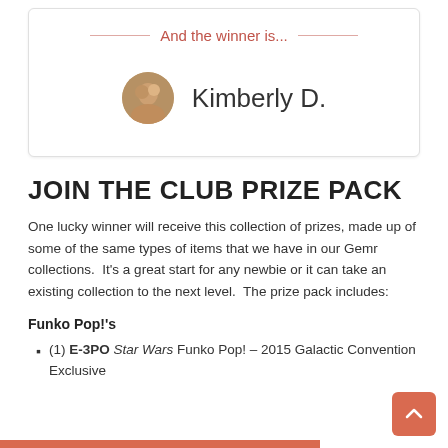And the winner is...
[Figure (photo): Circular profile photo of Kimberly D.]
Kimberly D.
JOIN THE CLUB PRIZE PACK
One lucky winner will receive this collection of prizes, made up of some of the same types of items that we have in our Gemr collections.  It's a great start for any newbie or it can take an existing collection to the next level.  The prize pack includes:
Funko Pop!'s
(1) E-3PO Star Wars Funko Pop! – 2015 Galactic Convention Exclusive